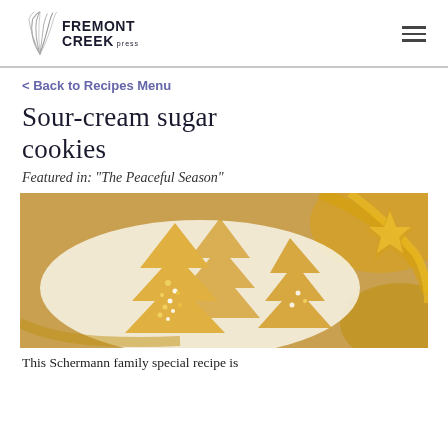Fremont Creek press
< Back to Recipes Menu
Sour-cream sugar cookies
Featured in: "The Peaceful Season"
[Figure (photo): Christmas tree shaped sugar cookies with gold and pearl sprinkles on a white plate with gold ribbon decoration]
This Schermann family special recipe is